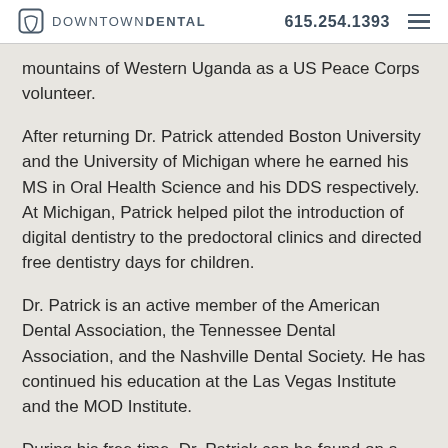DOWNTOWN DENTAL | 615.254.1393
mountains of Western Uganda as a US Peace Corps volunteer.
After returning Dr. Patrick attended Boston University and the University of Michigan where he earned his MS in Oral Health Science and his DDS respectively. At Michigan, Patrick helped pilot the introduction of digital dentistry to the predoctoral clinics and directed free dentistry days for children.
Dr. Patrick is an active member of the American Dental Association, the Tennessee Dental Association, and the Nashville Dental Society. He has continued his education at the Las Vegas Institute and the MOD Institute.
During his free time, Dr. Patrick can be found on a